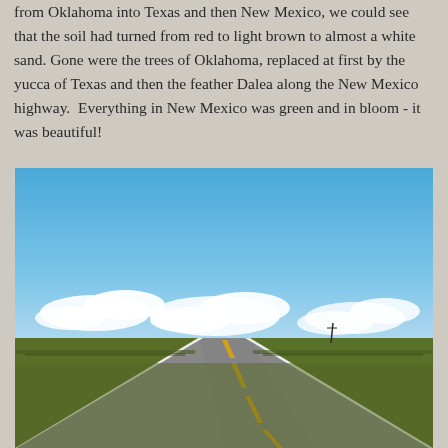from Oklahoma into Texas and then New Mexico, we could see that the soil had turned from red to light brown to almost a white sand. Gone were the trees of Oklahoma, replaced at first by the yucca of Texas and then the feather Dalea along the New Mexico highway.  Everything in New Mexico was green and in bloom - it was beautiful!
[Figure (photo): A road trip photograph showing a long straight highway stretching to the horizon under a bright blue sky with white clouds. Green scrubland and low vegetation flank both sides of the road. A utility pole is visible on the right side. The road has white edge markings and yellow dashes on the center line.]